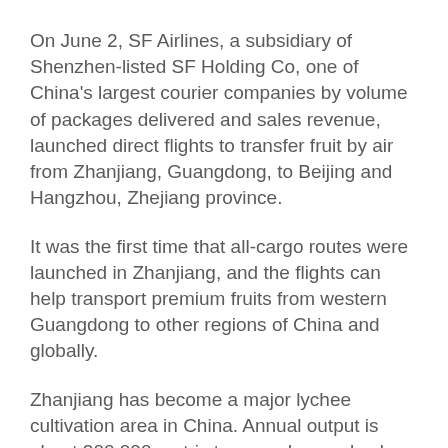On June 2, SF Airlines, a subsidiary of Shenzhen-listed SF Holding Co, one of China's largest courier companies by volume of packages delivered and sales revenue, launched direct flights to transfer fruit by air from Zhanjiang, Guangdong, to Beijing and Hangzhou, Zhejiang province.
It was the first time that all-cargo routes were launched in Zhanjiang, and the flights can help transport premium fruits from western Guangdong to other regions of China and globally.
Zhanjiang has become a major lychee cultivation area in China. Annual output is about 200,000 metric tons, and annual sales revenue stands at around 2.5 billion yuan ($375 million), according to the local government.
SF said for the lychee season this year, the company has put into operation an additional 120 cold-chain vehicles, as well as over 800 delivery points that are